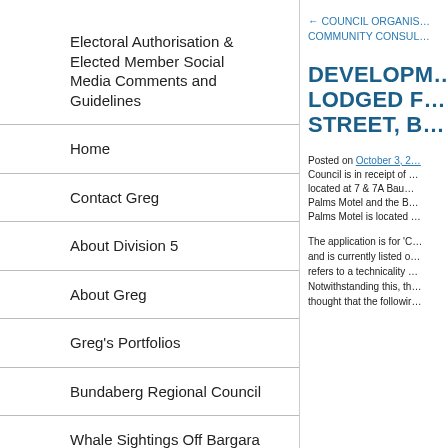Electoral Authorisation & Elected Member Social Media Comments and Guidelines
Home
Contact Greg
About Division 5
About Greg
Greg's Portfolios
Bundaberg Regional Council
Whale Sightings Off Bargara Coast
← COUNCIL ORGANIS… COMMUNITY CONSUL…
DEVELOPM… LODGED F… STREET, B…
Posted on October 3, 2… Council is in receipt of … located at 7 & 7A Bau… Palms Motel and the B… Palms Motel is located …
The application is for 'C… and is currently listed o… refers to a technicality … Notwithstanding this, th… thought that the followir…